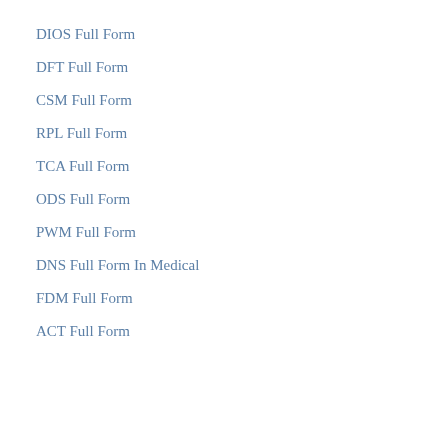DIOS Full Form
DFT Full Form
CSM Full Form
RPL Full Form
TCA Full Form
ODS Full Form
PWM Full Form
DNS Full Form In Medical
FDM Full Form
ACT Full Form